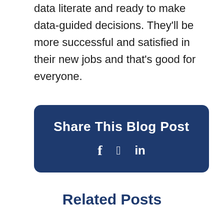data literate and ready to make data-guided decisions. They'll be more successful and satisfied in their new jobs and that's good for everyone.
Share This Blog Post
f  𝕩  in
Related Posts